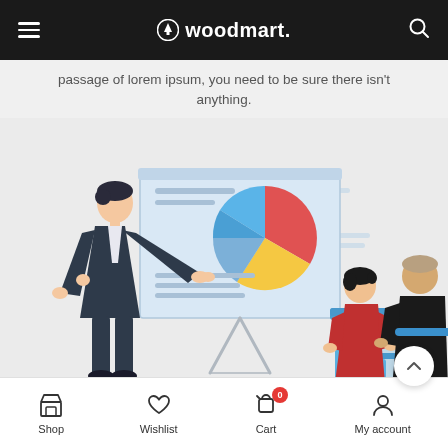woodmart.
passage of lorem ipsum, you need to be sure there isn't anything.
[Figure (illustration): Flat vector illustration of a business presentation scene. A man in a dark suit stands pointing at a whiteboard/easel displaying a pie chart with red, yellow, blue, and orange slices. Two people (a woman in red and a man in black) sit at a blue table facing the presenter. Background is light grey with subtle decorative lines.]
Shop   Wishlist   Cart   My account